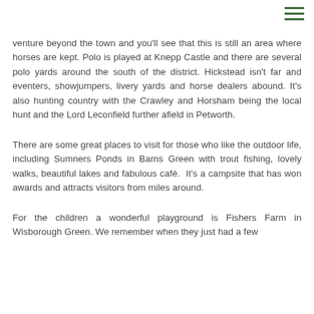≡
venture beyond the town and you'll see that this is still an area where horses are kept. Polo is played at Knepp Castle and there are several polo yards around the south of the district. Hickstead isn't far and eventers, showjumpers, livery yards and horse dealers abound. It's also hunting country with the Crawley and Horsham being the local hunt and the Lord Leconfield further afield in Petworth.
There are some great places to visit for those who like the outdoor life, including Sumners Ponds in Barns Green with trout fishing, lovely walks, beautiful lakes and fabulous café.  It's a campsite that has won awards and attracts visitors from miles around.
For the children a wonderful playground is Fishers Farm in Wisborough Green. We remember when they just had a few